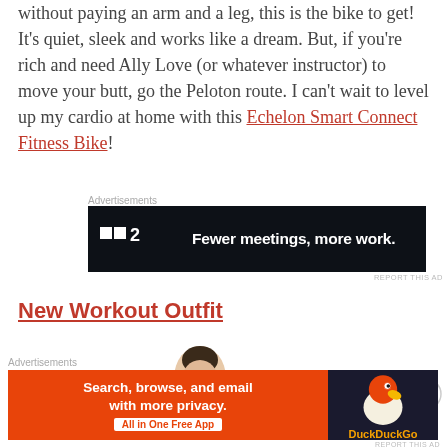without paying an arm and a leg, this is the bike to get! It's quiet, sleek and works like a dream. But, if you're rich and need Ally Love (or whatever instructor) to move your butt, go the Peloton route. I can't wait to level up my cardio at home with this Echelon Smart Connect Fitness Bike!
[Figure (screenshot): Advertisement banner for P2 (Productive company). Dark background with white logo and text: 'Fewer meetings, more work.']
New Workout Outfit
[Figure (photo): Photo of a model, cropped to show head and neck, facing camera with short dark hair]
[Figure (screenshot): Advertisement banner for DuckDuckGo. Orange left half with text 'Search, browse, and email with more privacy. All in One Free App' and dark right half with DuckDuckGo duck logo]